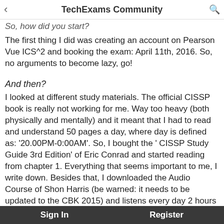TechExams Community
Yes, I think it's possible and that drives me forward to it.
So, how did you start?
The first thing I did was creating an account on Pearson Vue ICS^2 and booking the exam: April 11th, 2016. So, no arguments to become lazy, go!
And then?
I looked at different study materials. The official CISSP book is really not working for me. Way too heavy (both physically and mentally) and it meant that I had to read and understand 50 pages a day, where day is defined as: '20.00PM-0:00AM'. So, I bought the ' CISSP Study Guide 3rd Edition' of Eric Conrad and started reading from chapter 1. Everything that seems important to me, I write down. Besides that, I downloaded the Audio Course of Shon Harris (be warned: it needs to be updated to the CBK 2015) and listens every day 2 hours to it when travelling to my work (1 hour to and 1 hour from my work). See: McGraw-Hill Education | CISSP Practice Exams
Where are you now?
Yesterday, I finalized reading (and writing down my notes) the CISSP Study Guide. Besides that, I started with making practice questions of CCC (freepracticete... every day a
Sign In    Register